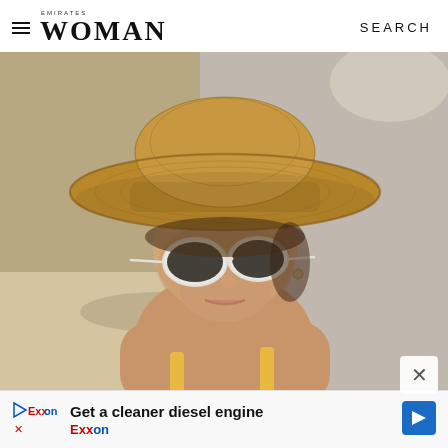EMIRATES WOMAN | SEARCH
[Figure (photo): Close-up photo of a young woman wearing a wide-brim woven straw hat and round white-framed sunglasses, wearing a yellow spaghetti-strap top, posed against a concrete wall in sunlight.]
Get a cleaner diesel engine
Exxon